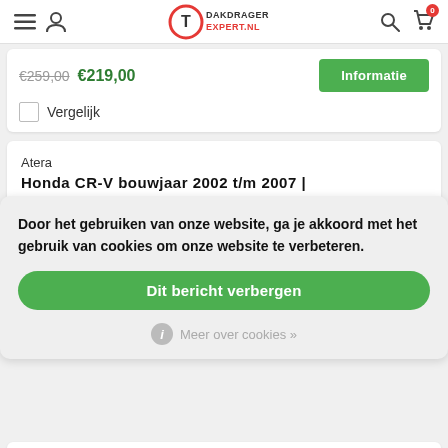Dakdrager Expert NL — navigation header
€259,00  €219,00  Informatie
Vergelijk
Atera
Honda CR-V bouwjaar 2002 t/m 2007 | met montagepunten in het dak
Door het gebruiken van onze website, ga je akkoord met het gebruik van cookies om onze website te verbeteren.
Dit bericht verbergen
Meer over cookies »
Thule